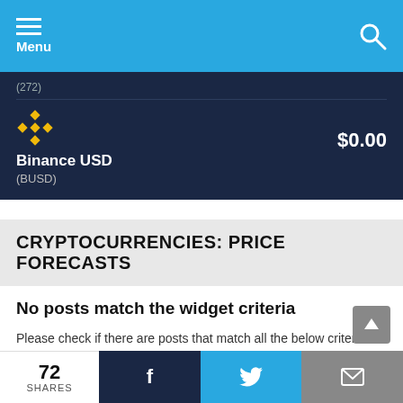Menu
[Figure (infographic): Binance USD (BUSD) crypto card showing price $0.00 on dark navy background with Binance logo]
CRYPTOCURRENCIES: PRICE FORECASTS
No posts match the widget criteria
Please check if there are posts that match all the below criteria. If not, remove the wrong ones in the widget settings.
Time range: all
Tags: forecasts
72 SHARES